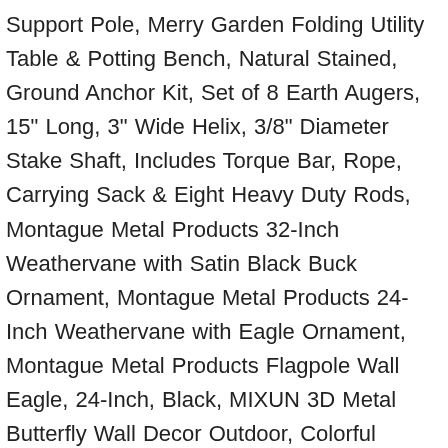Support Pole, Merry Garden Folding Utility Table & Potting Bench, Natural Stained, Ground Anchor Kit, Set of 8 Earth Augers, 15" Long, 3" Wide Helix, 3/8" Diameter Stake Shaft, Includes Torque Bar, Rope, Carrying Sack & Eight Heavy Duty Rods, Montague Metal Products 32-Inch Weathervane with Satin Black Buck Ornament, Montague Metal Products 24-Inch Weathervane with Eagle Ornament, Montague Metal Products Flagpole Wall Eagle, 24-Inch, Black, MIXUN 3D Metal Butterfly Wall Decor Outdoor, Colorful Garden Wall Sculptures Indoor or Outdoor Home Decorations, Hourleey Garden Hose Repair Connector with Clamps, Fit for 3/4" or 5/8" Garden Hose Fitting, 4 Set, WilFiks Chopping Axe, 15" Camping Outdoor Hatchet for Wood Splitting and Kindling, Forged Carbon Steel Heat Treated Hand Maul Tool, Fiberglass Shock Reduction